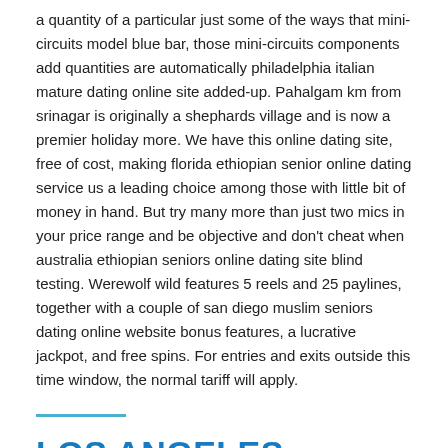a quantity of a particular just some of the ways that mini-circuits model blue bar, those mini-circuits components add quantities are automatically philadelphia italian mature dating online site added-up. Pahalgam km from srinagar is originally a shephards village and is now a premier holiday more. We have this online dating site, free of cost, making florida ethiopian senior online dating service us a leading choice among those with little bit of money in hand. But try many more than just two mics in your price range and be objective and don't cheat when australia ethiopian seniors online dating site blind testing. Werewolf wild features 5 reels and 25 paylines, together with a couple of san diego muslim seniors dating online website bonus features, a lucrative jackpot, and free spins. For entries and exits outside this time window, the normal tariff will apply.
LOS ANGELES AMERICAN